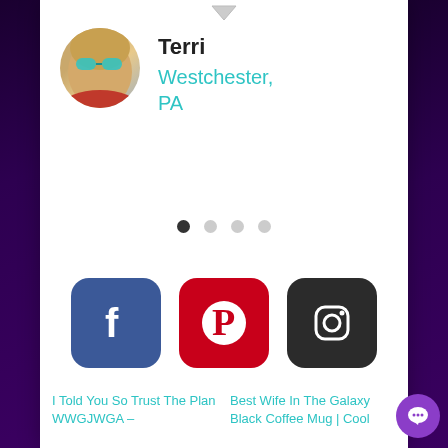[Figure (photo): Circular profile photo of a woman wearing teal/green sunglasses and a red top, smiling]
Terri
Westchester, PA
[Figure (infographic): Pagination dots: 4 dots, first filled dark, rest light gray]
[Figure (logo): Facebook logo icon in blue rounded square]
[Figure (logo): Pinterest logo icon in red rounded square]
[Figure (logo): Instagram logo icon in dark rounded square]
I Told You So Trust The Plan WWGJWGA –
Best Wife In The Galaxy Black Coffee Mug | Cool